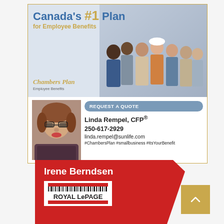[Figure (advertisement): Chambers Plan Employee Benefits advertisement featuring a group of diverse workers, with agent Linda Rempel's contact info and a Request a Quote button]
Canada's #1 Plan for Employee Benefits
Chambers Plan Employee Benefits
REQUEST A QUOTE
Linda Rempel, CFP®
250-617-2929
linda.rempel@sunlife.com
#ChambersPlan #smallbusiness #ItsYourBenefit
[Figure (advertisement): Royal LePage real estate advertisement for Irene Berndsen with red swoosh shape and Royal LePage logo]
Irene Berndsen
ROYAL LePAGE